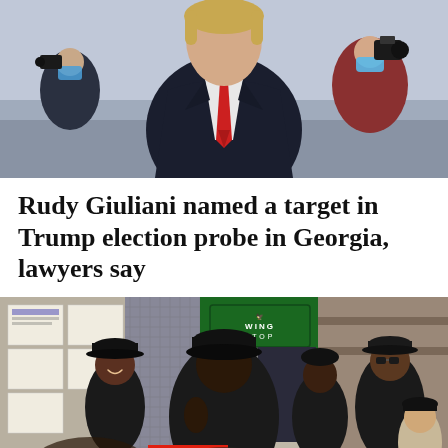[Figure (photo): A man in a dark navy suit with a red tie walks through a crowd. People with cameras and masks are visible in the background.]
Rudy Giuliani named a target in Trump election probe in Georgia, lawyers say
[Figure (photo): People gathered inside a Wingstop restaurant. A large man in a black outfit stands near the center. A Wingstop sign is visible on a green door in the background. A menu with 'Spicy Korean' is visible in the foreground.]